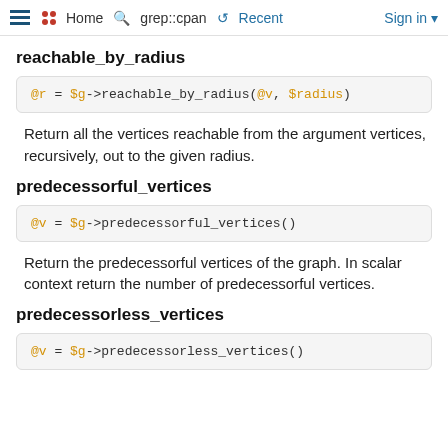Home  grep::cpan  Recent  Sign in
reachable_by_radius
Return all the vertices reachable from the argument vertices, recursively, out to the given radius.
predecessorful_vertices
Return the predecessorful vertices of the graph. In scalar context return the number of predecessorful vertices.
predecessorless_vertices